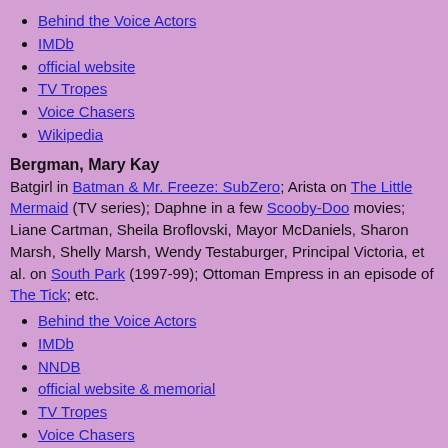Behind the Voice Actors
IMDb
official website
TV Tropes
Voice Chasers
Wikipedia
Bergman, Mary Kay
Batgirl in Batman & Mr. Freeze: SubZero; Arista on The Little Mermaid (TV series); Daphne in a few Scooby-Doo movies; Liane Cartman, Sheila Broflovski, Mayor McDaniels, Sharon Marsh, Shelly Marsh, Wendy Testaburger, Principal Victoria, et al. on South Park (1997-99); Ottoman Empress in an episode of The Tick; etc.
Behind the Voice Actors
IMDb
NNDB
official website & memorial
TV Tropes
Voice Chasers
Wikipedia
Billingslea, Beau
Jonny Quest, Boba on 885, on Galaxy 899, Beaufort in Final Fantasy...